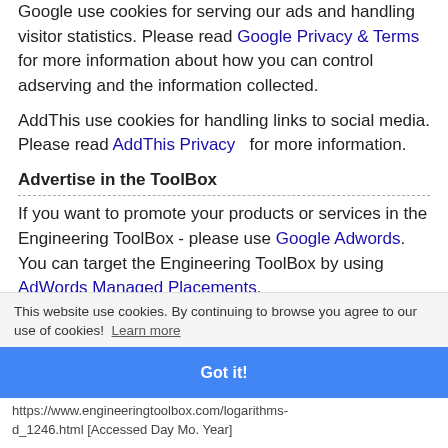Google use cookies for serving our ads and handling visitor statistics. Please read Google Privacy & Terms for more information about how you can control adserving and the information collected.
AddThis use cookies for handling links to social media. Please read AddThis Privacy for more information.
Advertise in the ToolBox
If you want to promote your products or services in the Engineering ToolBox - please use Google Adwords. You can target the Engineering ToolBox by using AdWords Managed Placements.
Citation
This website use cookies. By continuing to browse you agree to our use of cookies! Learn more
Got it!
https://www.engineeringtoolbox.com/logarithms-d_1246.html [Accessed Day Mo. Year]